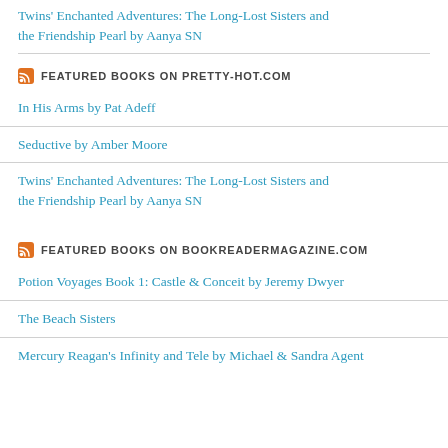Twins' Enchanted Adventures: The Long-Lost Sisters and the Friendship Pearl by Aanya SN
FEATURED BOOKS ON PRETTY-HOT.COM
In His Arms by Pat Adeff
Seductive by Amber Moore
Twins' Enchanted Adventures: The Long-Lost Sisters and the Friendship Pearl by Aanya SN
FEATURED BOOKS ON BOOKREADERMAGAZINE.COM
Potion Voyages Book 1: Castle & Conceit by Jeremy Dwyer
The Beach Sisters
Mercury Reagan's Infinity and Tele by Michael & Sandra Agent